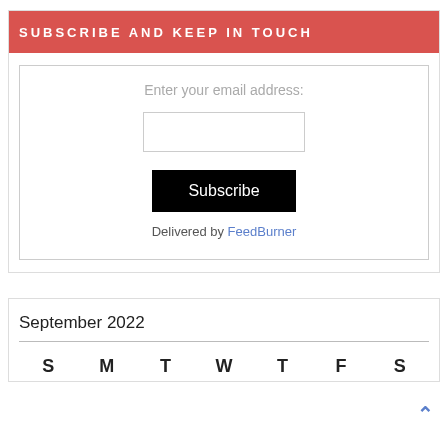SUBSCRIBE AND KEEP IN TOUCH
Enter your email address:
Subscribe
Delivered by FeedBurner
September 2022
S M T W T F S